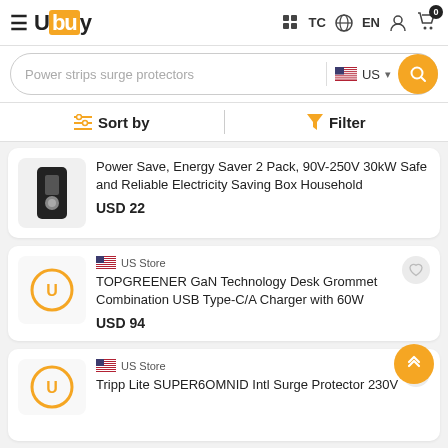Ubuy — TC | EN | Cart (0)
Power strips surge protectors | US
Sort by | Filter
Power Save, Energy Saver 2 Pack, 90V-250V 30kW Safe and Reliable Electricity Saving Box Household
USD 22
US Store
TOPGREENER GaN Technology Desk Grommet Combination USB Type-C/A Charger with 60W
USD 94
US Store
Tripp Lite SUPER6OMNID Intl Surge Protector 230V